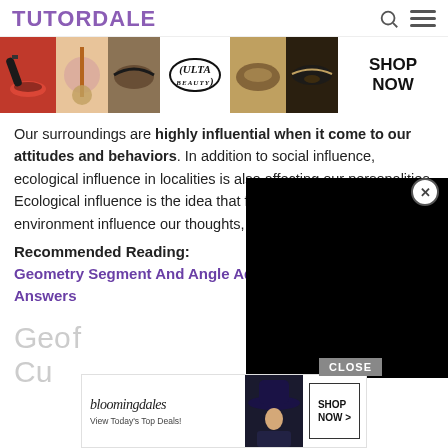TUTORDALE
[Figure (photo): Ulta beauty advertisement banner with makeup/cosmetics images and 'SHOP NOW' text]
Our surroundings are highly influential when it come to our attitudes and behaviors. In addition to social influence, ecological influence in localities is also affecting our personalities. Ecological influence is the idea that features of the physical environment influence our thoughts, feelings, and behaviors.
Recommended Reading:
Geometry Segment And Angle Addition Worksheet Answers
Geo... f Cu...
[Figure (photo): Bloomingdale's advertisement banner — 'View Today's Top Deals!' with woman in hat and 'SHOP NOW >' button]